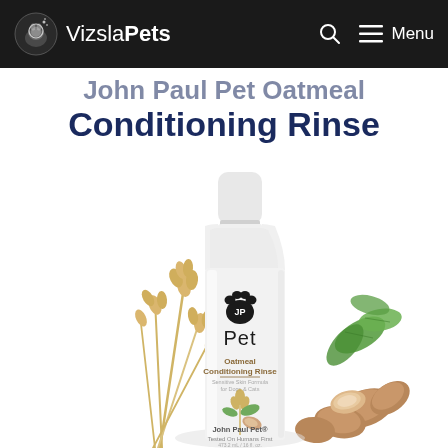VizslaPets — Menu
John Paul Pet Oatmeal Conditioning Rinse
[Figure (photo): Product photo of John Paul Pet Oatmeal Conditioning Rinse bottle, a white cylindrical bottle with black paw print logo, surrounded by wheat stalks and almonds with green leaves on a white background.]